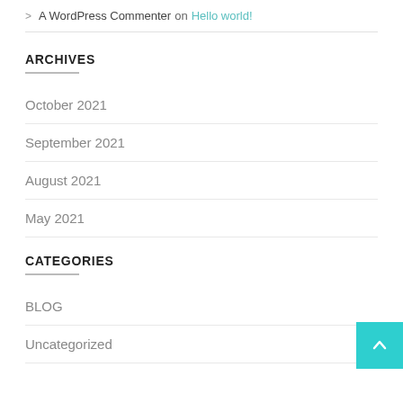> A WordPress Commenter on Hello world!
ARCHIVES
October 2021
September 2021
August 2021
May 2021
CATEGORIES
BLOG
Uncategorized